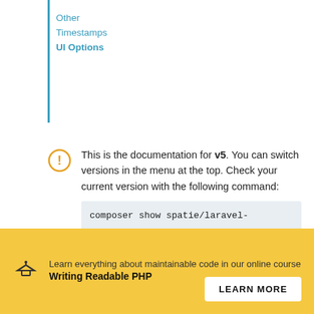Other
Timestamps
UI Options
This is the documentation for v5. You can switch versions in the menu at the top. Check your current version with the following command:
Learn everything about maintainable code in our online course
Writing Readable PHP